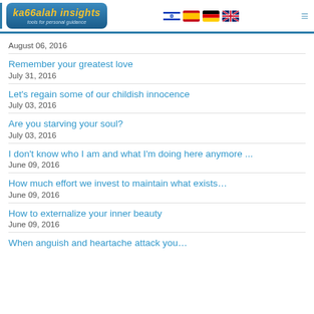[Figure (logo): Kabbalah Insights logo with blue gradient pill shape, yellow stylized text 'ka66alah insights', subtitle 'tools for personal guidance', and four country flags (Israel, Spain, Germany, UK) plus hamburger menu icon]
August 06, 2016
Remember your greatest love
July 31, 2016
Let's regain some of our childish innocence
July 03, 2016
Are you starving your soul?
July 03, 2016
I don't know who I am and what I'm doing here anymore ...
June 09, 2016
How much effort we invest to maintain what exists…
June 09, 2016
How to externalize your inner beauty
June 09, 2016
When anguish and heartache attack you…